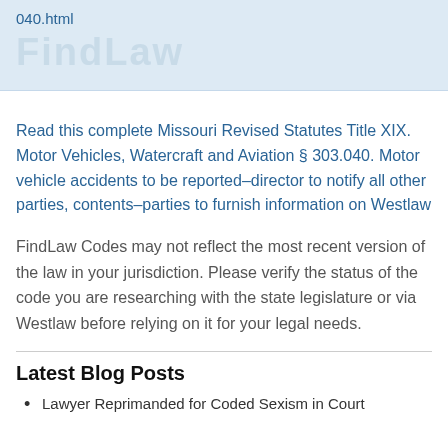040.html
Read this complete Missouri Revised Statutes Title XIX. Motor Vehicles, Watercraft and Aviation § 303.040. Motor vehicle accidents to be reported–director to notify all other parties, contents–parties to furnish information on Westlaw
FindLaw Codes may not reflect the most recent version of the law in your jurisdiction. Please verify the status of the code you are researching with the state legislature or via Westlaw before relying on it for your legal needs.
Latest Blog Posts
Lawyer Reprimanded for Coded Sexism in Court